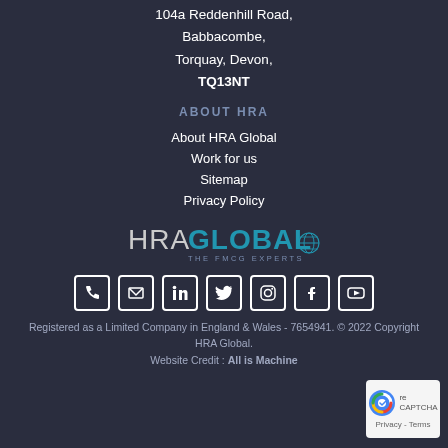104a Reddenhill Road, Babbacombe, Torquay, Devon, TQ13NT
ABOUT HRA
About HRA Global
Work for us
Sitemap
Privacy Policy
[Figure (logo): HRA Global - The FMCG Experts logo with globe icon]
[Figure (infographic): Social media icons: phone, email, LinkedIn, Twitter, Instagram, Facebook, YouTube]
Registered as a Limited Company in England & Wales - 7654941. © 2022 Copyright HRA Global. Website Credit : All is Machine